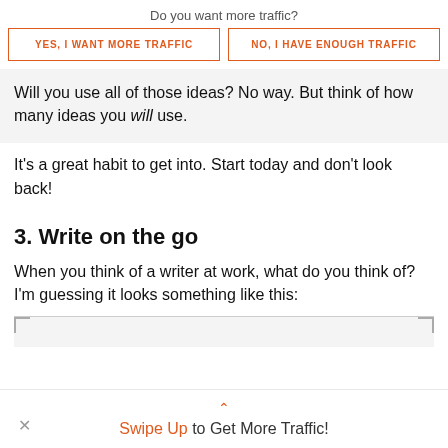Do you want more traffic?
[Figure (other): Two CTA buttons side by side: 'YES, I WANT MORE TRAFFIC' and 'NO, I HAVE ENOUGH TRAFFIC', both orange-bordered]
Will you use all of those ideas? No way. But think of how many ideas you will use.
It's a great habit to get into. Start today and don't look back!
3. Write on the go
When you think of a writer at work, what do you think of? I'm guessing it looks something like this:
[Figure (other): Bottom of image placeholder with corner markers visible]
Swipe Up to Get More Traffic!